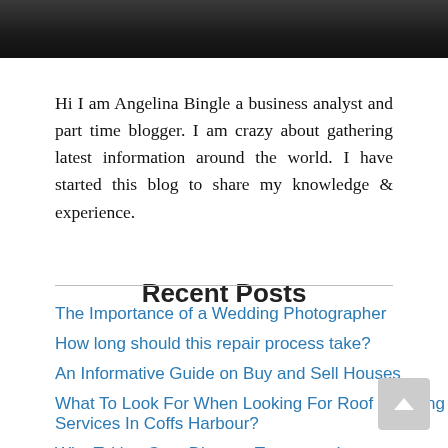[Figure (photo): Dark photo strip showing partial image at top of page]
Hi I am Angelina Bingle a business analyst and part time blogger. I am crazy about gathering latest information around the world. I have started this blog to share my knowledge & experience.
Recent Posts
The Importance of a Wedding Photographer
How long should this repair process take?
An Informative Guide on Buy and Sell Houses
What To Look For When Looking For Roof Cleaning Services In Coffs Harbour?
Why Taking Gum Disease Treatment Is